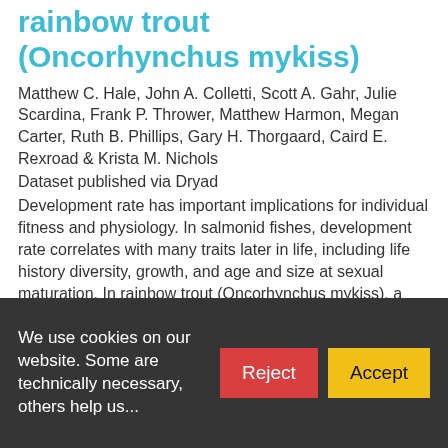rainbow trout (Oncorhynchus mykiss)
Matthew C. Hale, John A. Colletti, Scott A. Gahr, Julie Scardina, Frank P. Thrower, Matthew Harmon, Megan Carter, Ruth B. Phillips, Gary H. Thorgaard, Caird E. Rexroad & Krista M. Nichols
Dataset published via Dryad
Development rate has important implications for individual fitness and physiology. In salmonid fishes, development rate correlates with many traits later in life, including life history diversity, growth, and age and size at sexual maturation. In rainbow trout (Oncorhynchus mykiss), a Quantitative Trait Locus (QTL) for embryonic development rate has been detected on chromosome 5 across populations. However, few candidate genes have been identified within this region. In this study, we use gene mapping, gene expression....
We use cookies on our website. Some are technically necessary, others help us....
Reject
Accept